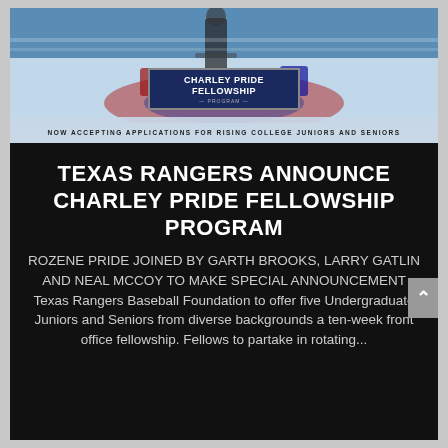[Figure (photo): Photo of Texas Rangers Charley Pride Fellowship Program banner with people and sports court background. Badge reads CHARLEY PRIDE FELLOWSHIP. Bar below reads NOW ACCEPTING APPLICATIONS FOR RISING COLLEGE JUNIORS AND SENIORS.]
TEXAS RANGERS ANNOUNCE CHARLEY PRIDE FELLOWSHIP PROGRAM
ROZENE PRIDE JOINED BY GARTH BROOKS, LARRY GATLIN AND NEAL MCCOY TO MAKE SPECIAL ANNOUNCEMENT Texas Rangers Baseball Foundation to offer five Undergraduate Juniors and Seniors from diverse backgrounds a ten-week front office fellowship. Fellows to partake in rotating...